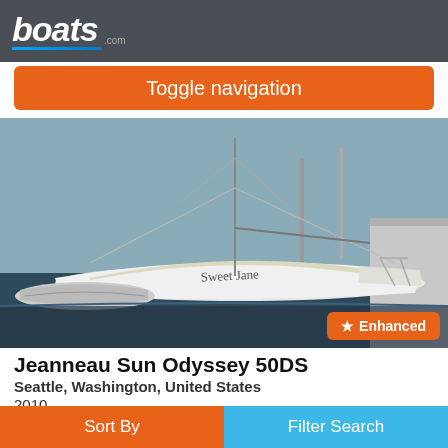boats.com
Toggle navigation
[Figure (photo): Sailboat named 'Sweet Jane' docked at a marina, white hull, with a dinghy alongside]
Jeanneau Sun Odyssey 50DS
Seattle, Washington, United States
2010
£303,436
"Sweet Jane" is a well-equipped, professionally maintained Jeanneau Sun Odyssey 50 DS (Deck Salon) that is in excellent condition!  She is
Sort By  Filter Search